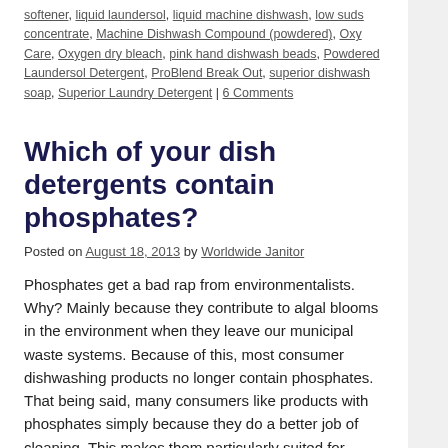softener, liquid laundersol, liquid machine dishwash, low suds concentrate, Machine Dishwash Compound (powdered), Oxy Care, Oxygen dry bleach, pink hand dishwash beads, Powdered Laundersol Detergent, ProBlend Break Out, superior dishwash soap, Superior Laundry Detergent | 6 Comments
Which of your dish detergents contain phosphates?
Posted on August 18, 2013 by Worldwide Janitor
Phosphates get a bad rap from environmentalists. Why? Mainly because they contribute to algal blooms in the environment when they leave our municipal waste systems. Because of this, most consumer dishwashing products no longer contain phosphates. That being said, many consumers like products with phosphates simply because they do a better job of cleaning. This makes them particularly suited for … Continue reading →
Posted in Dishwashing, FAQ's | Tagged almond ease dishwash, apple ease dishwash, dishwash rinse additive, lemon ease dishwash, liquid machine dishwash, machine dishwash compound, pink hand dishwash beads, superior dishwash soap | Leave a comment